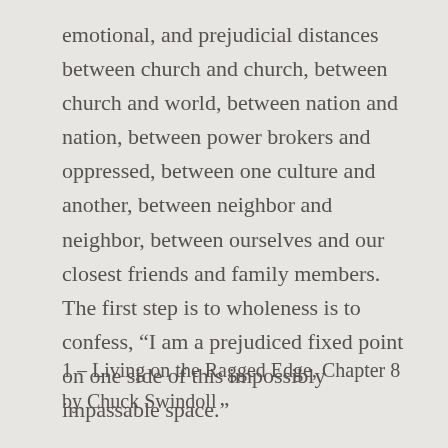emotional, and prejudicial distances between church and church, between church and world, between nation and nation, between power brokers and oppressed, between one culture and another, between neighbor and neighbor, between ourselves and our closest friends and family members. The first step is to wholeness is to confess, “I am a prejudiced fixed point on one side of this impossibly impassable space.”
1 – Living on the Ragged Edge, Chapter 8 by Chuck Swindoll